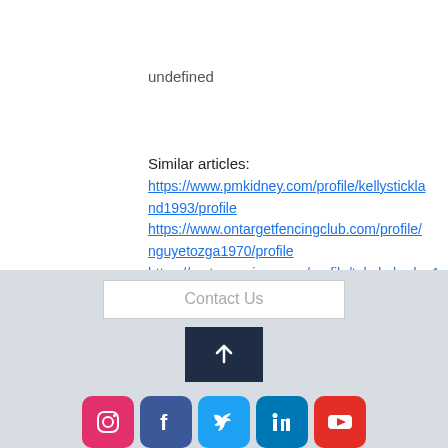undefined
Similar articles:
https://www.pmkidney.com/profile/kellystickland1993/profile
https://www.ontargetfencingclub.com/profile/nguyetozga1970/profile
https://en.tomomiura.com/profile/takakobodон1970/profile
https://da.clicktalmo.com/profile/marilynarras1996/profile
Contact Us
[Figure (other): Up arrow button on dark navy background]
[Figure (other): Social media icons row: Instagram, Facebook, Twitter, LinkedIn, YouTube]